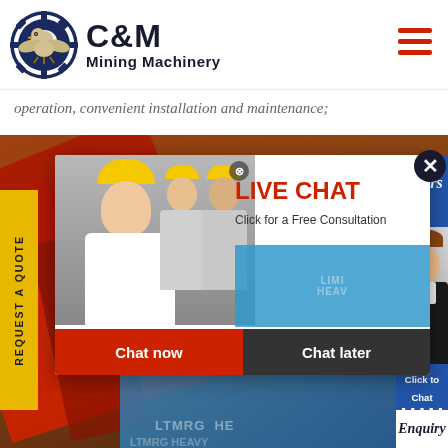[Figure (logo): C&M Mining Machinery logo with eagle gear icon in navy blue]
operation, convenient installation and maintenance;
[Figure (screenshot): Live chat popup overlay on C&M Mining Machinery website showing workers in hard hats, 'LIVE CHAT' header in red, 'Click for a Free Consultation' subtitle, Chat now (red) and Chat later (dark) buttons, Hours/Online sidebar, and customer service agent photo]
REQUEST A QUOTE
Hours
line
Click to Chat
Enquiry